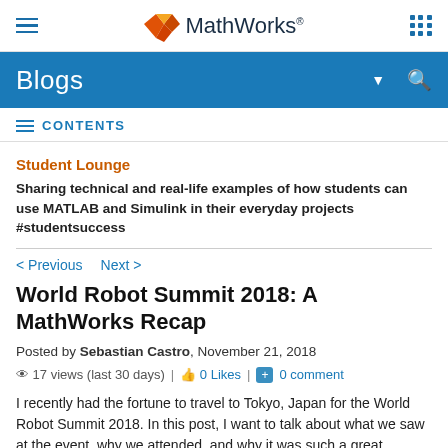MathWorks Blogs
≡ CONTENTS
Student Lounge
Sharing technical and real-life examples of how students can use MATLAB and Simulink in their everyday projects #studentsuccess
< Previous   Next >
World Robot Summit 2018: A MathWorks Recap
Posted by Sebastian Castro, November 21, 2018
17 views (last 30 days) | 0 Likes | 0 comment
I recently had the fortune to travel to Tokyo, Japan for the World Robot Summit 2018. In this post, I want to talk about what we saw at the event, why we attended, and why it was such a great